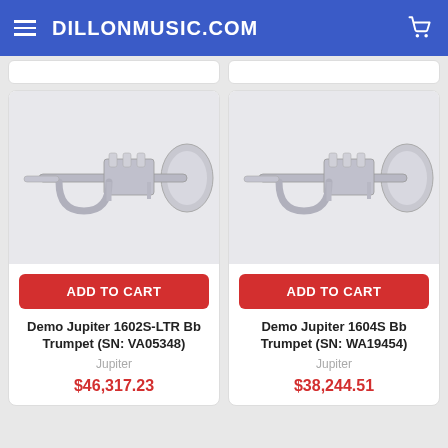DILLONMUSIC.COM
[Figure (photo): Silver Bb trumpet (Demo Jupiter 1602S-LTR) product photo on light background]
ADD TO CART
Demo Jupiter 1602S-LTR Bb Trumpet (SN: VA05348)
Jupiter
$46,317.23
[Figure (photo): Silver Bb trumpet (Demo Jupiter 1604S) product photo on light background]
ADD TO CART
Demo Jupiter 1604S Bb Trumpet (SN: WA19454)
Jupiter
$38,244.51